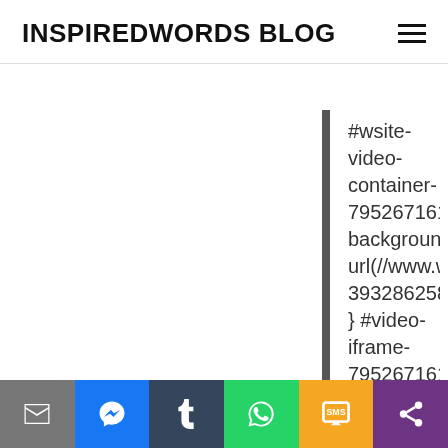INSPIREDWORDS BLOG
#wsite-video-container-795267161502510387{ background: url(//www.weebly.com/uploads/b/6601024-393286258168925869/revelation_book_advert_2_190.jpg); } #video-iframe-795267161502510387{ background: url(//cdn2.editmysite.com/images/util/videojs/play-icon.png?1658787022); } #wsite-video-container-795267161502510387, #video-iframe-795267161502510387{ background-repeat: no-repea [...]
Email | Messenger | Tumblr | WhatsApp | SMS | Share